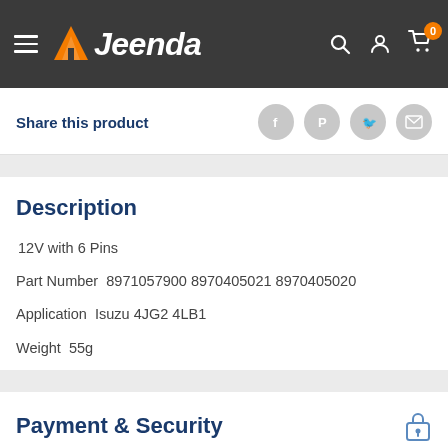Jeenda — navigation header with logo, search, account, and cart icons
Share this product
Description
12V with 6 Pins
Part Number  8971057900 8970405021 8970405020
Application  Isuzu 4JG2 4LB1
Weight  55g
Payment & Security